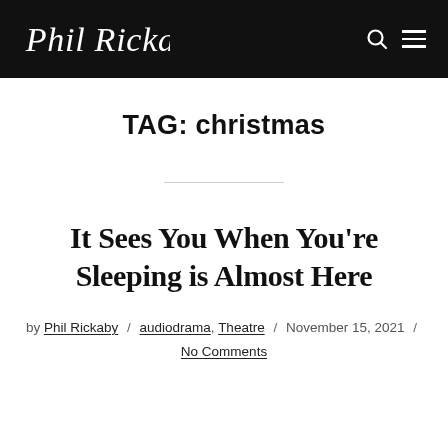Phil Rickaby
TAG: christmas
It Sees You When You’re Sleeping is Almost Here
by Phil Rickaby / audiodrama, Theatre / November 15, 2021 / No Comments